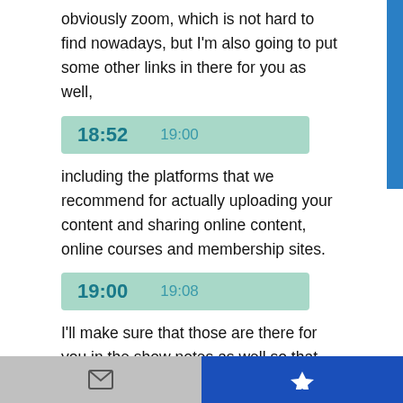obviously zoom, which is not hard to find nowadays, but I'm also going to put some other links in there for you as well,
18:52   19:00
including the platforms that we recommend for actually uploading your content and sharing online content, online courses and membership sites.
19:00   19:08
I'll make sure that those are there for you in the show notes as well so that you can not only take today's action steps but you can take them a step further.
19:08   19:17